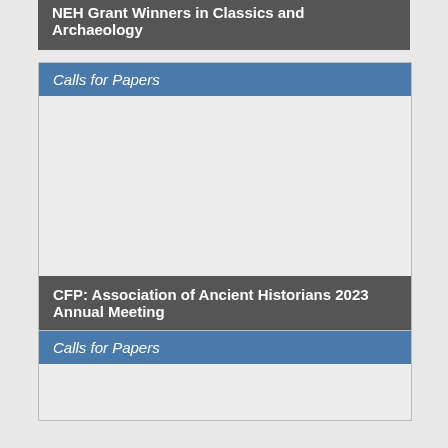NEH Grant Winners in Classics and Archaeology
Calls for Papers
[Figure (photo): Image placeholder for CFP: Association of Ancient Historians 2023 Annual Meeting]
CFP: Association of Ancient Historians 2023 Annual Meeting
Calls for Papers